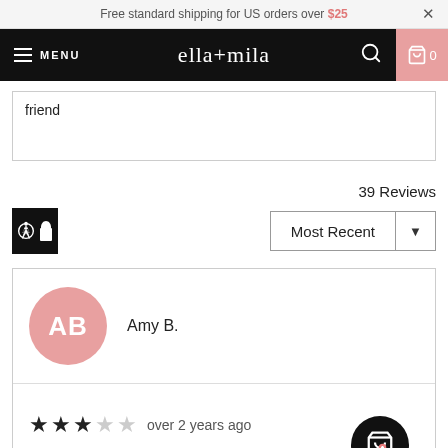Free standard shipping for US orders over $25 ×
MENU ella+mila 🔍 🛒 0
friend
39 Reviews
Most Recent ▼
AB Amy B.
★★★☆☆ over 2 years ago